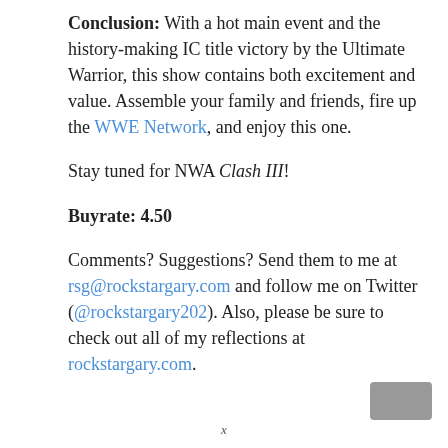Conclusion: With a hot main event and the history-making IC title victory by the Ultimate Warrior, this show contains both excitement and value. Assemble your family and friends, fire up the WWE Network, and enjoy this one.
Stay tuned for NWA Clash III!
Buyrate: 4.50
Comments? Suggestions? Send them to me at rsg@rockstargary.com and follow me on Twitter (@rockstargary202). Also, please be sure to check out all of my reflections at rockstargary.com.